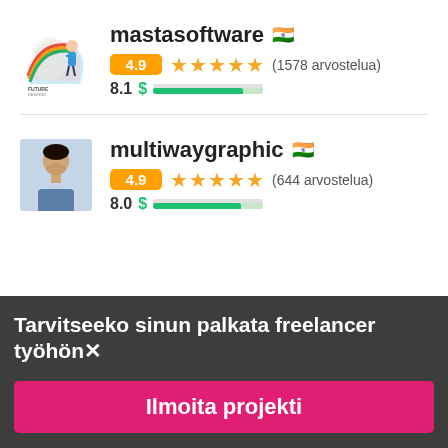[Figure (other): Seller profile card for mastasoftware with Future Designs logo avatar, Indian flag, 4.9 rating badge, 5 stars, (1578 arvostelua), price indicator 8.1]
[Figure (other): Seller profile card for multiwaygraphic with photo avatar of young man, Indian flag, 4.9 rating badge, 5 stars, (644 arvostelua), price indicator 8.0]
Tarvitseeko sinun palkata freelancer työhön✕
Ilmoita projekti